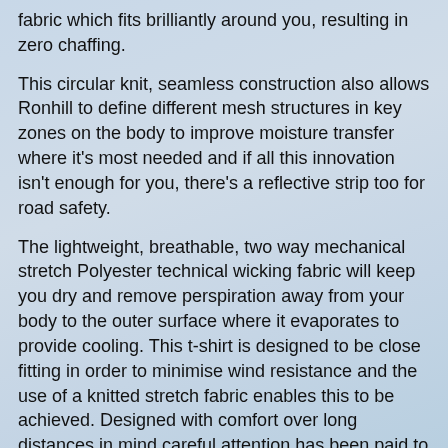fabric which fits brilliantly around you, resulting in zero chaffing.
This circular knit, seamless construction also allows Ronhill to define different mesh structures in key zones on the body to improve moisture transfer where it's most needed and if all this innovation isn't enough for you, there's a reflective strip too for road safety.
The lightweight, breathable, two way mechanical stretch Polyester technical wicking fabric will keep you dry and remove perspiration away from your body to the outer surface where it evaporates to provide cooling. This t-shirt is designed to be close fitting in order to minimise wind resistance and the use of a knitted stretch fabric enables this to be achieved. Designed with comfort over long distances in mind careful attention has been paid to details in order to minimise chaffing. For example the usual label at the back of the neck is avoided so there is an inner heat transfer label for comfort next to your skin. Flat locked seems are used on the sleeves for strength and comfort. Raglan sleeves ensure there is no seem on top of your